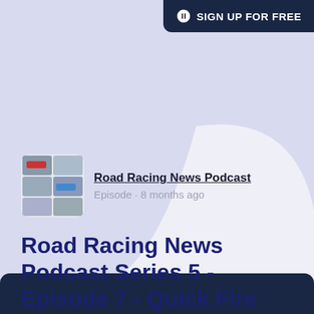SIGN UP FOR FREE
[Figure (screenshot): Road Racing News Podcast thumbnail showing motorcycle racing images in a grid layout]
Road Racing News Podcast
Episode · 8 months ago
Road Racing News Podcast Series 5 - Episode 7 - Quick Fire Review